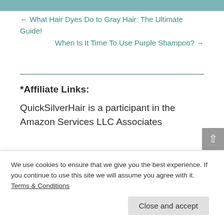[Figure (photo): Partial image strip at top of page, showing hair-related photo cropped]
← What Hair Dyes Do to Gray Hair: The Ultimate Guide!
When Is It Time To Use Purple Shampoo? →
*Affiliate Links:
QuickSilverHair is a participant in the Amazon Services LLC Associates
We use cookies to ensure that we give you the best experience. If you continue to use this site we will assume you agree with it. Terms & Conditions
Close and accept